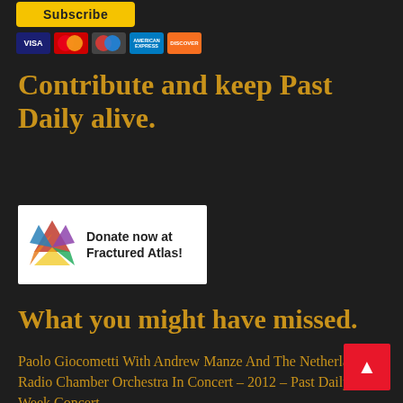[Figure (screenshot): Subscribe button with payment card icons (Visa, Mastercard, Mastercard, American Express, Discover)]
Contribute and keep Past Daily alive.
[Figure (logo): Donate now at Fractured Atlas button with colorful logo]
What you might have missed.
Paolo Giocometti With Andrew Manze And The Netherlands Radio Chamber Orchestra In Concert – 2012 – Past Daily Mid-Week Concert.
The Great Radio Documentaries – The Green Border With Edward R. Murrow – Refugees From Eastern Europe 1953 – Past Daily Pop Chronicles
May 19, 1963 – Muhammad Zafarullah Khan Meets